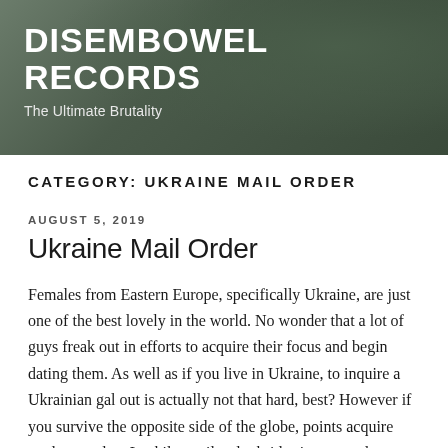[Figure (photo): Website header banner with dark-tinted background showing blurred plant/vase imagery]
DISEMBOWEL RECORDS
The Ultimate Brutality
CATEGORY: UKRAINE MAIL ORDER
AUGUST 5, 2019
Ukraine Mail Order
Females from Eastern Europe, specifically Ukraine, are just one of the best lovely in the world. No wonder that a lot of guys freak out in efforts to acquire their focus and begin dating them. As well as if you live in Ukraine, to inquire a Ukrainian gal out is actually not that hard, best? However if you survive the opposite side of the globe, points acquire made complex. Luckily, mail order bride sites nowadays deal with the span in any way. So what